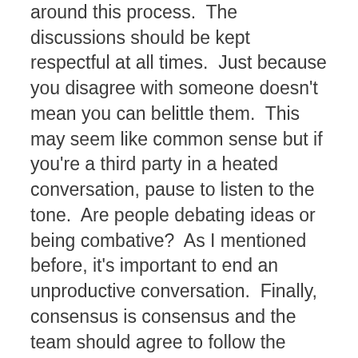around this process.  The discussions should be kept respectful at all times.  Just because you disagree with someone doesn't mean you can belittle them.  This may seem like common sense but if you're a third party in a heated conversation, pause to listen to the tone.  Are people debating ideas or being combative?  As I mentioned before, it's important to end an unproductive conversation.  Finally, consensus is consensus and the team should agree to follow the direction decided.  Even if an individual disagreed with it, s/he should fall in line once the team agrees.  Continuing to raise the disagreement after the fact is counter-productive and can frustrate a team.  Reiterating these “rules” to your team on a frequent basis keeps them front of mind and the instances where people become overly passionate tend to decline.  Mutual respect and trust